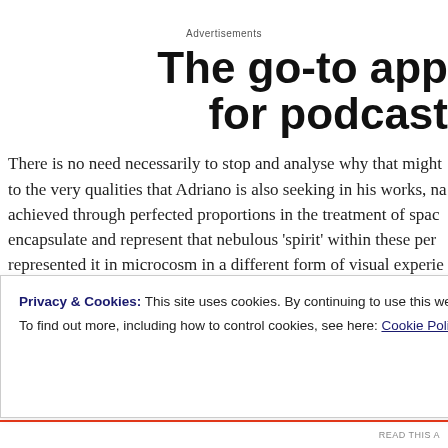Advertisements
The go-to app for podcast
There is no need necessarily to stop and analyse why that might to the very qualities that Adriano is also seeking in his works, na achieved through perfected proportions in the treatment of spac encapsulate and represent that nebulous ‘spirit’ within these per represented it in microcosm in a different form of visual experie pictorial compliment to space. And just as with the artists of the
Privacy & Cookies: This site uses cookies. By continuing to use this website, you agree to their use.
To find out more, including how to control cookies, see here: Cookie Policy
Close and accept